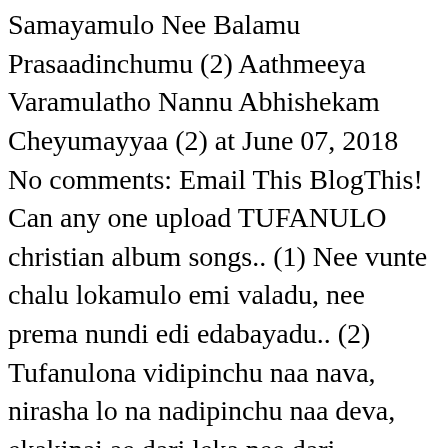Samayamulo Nee Balamu Prasaadinchumu (2) Aathmeeya Varamulatho Nannu Abhishekam Cheyumayyaa (2) at June 07, 2018 No comments: Email This BlogThis! Can any one upload TUFANULO christian album songs.. (1) Nee vunte chalu lokamulo emi valadu, nee prema nundi edi edabayadu.. (2) Tufanulona vidipinchu naa nava, nirasha lo na nadipinchu naa deva, ekakinai ae dari leka nee dari cheritini.. [G A D Bm F#m C Am] Chords for Jeevanadini Naa Hrudayamulo| Telugu Christian Song |Lyrics|New worship song with capo transposer, play along with guitar, piano